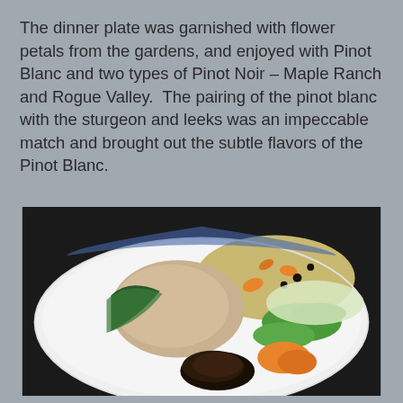The dinner plate was garnished with flower petals from the gardens, and enjoyed with Pinot Blanc and two types of Pinot Noir – Maple Ranch and Rogue Valley.  The pairing of the pinot blanc with the sturgeon and leeks was an impeccable match and brought out the subtle flavors of the Pinot Blanc.
[Figure (photo): A white dinner plate with a piece of fish wrapped in leek, grains with carrots, green snap peas, orange carrot slices, and a charred/roasted onion or leek base, photographed from above on a dark surface.]